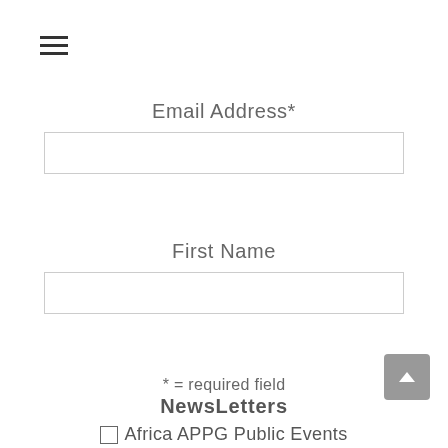[Figure (other): Hamburger menu icon — three horizontal bars]
Email Address*
[Figure (other): Empty text input field for email address]
First Name
[Figure (other): Empty text input field for first name]
* = required field
NewsLetters
Africa APPG Public Events
[Figure (other): Scroll-to-top button (grey rounded square with upward arrow)]